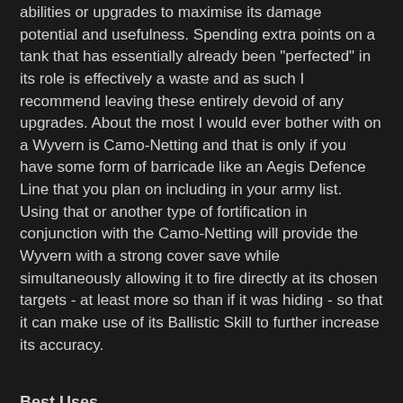abilities or upgrades to maximise its damage potential and usefulness. Spending extra points on a tank that has essentially already been "perfected" in its role is effectively a waste and as such I recommend leaving these entirely devoid of any upgrades. About the most I would ever bother with on a Wyvern is Camo-Netting and that is only if you have some form of barricade like an Aegis Defence Line that you plan on including in your army list. Using that or another type of fortification in conjunction with the Camo-Netting will provide the Wyvern with a strong cover save while simultaneously allowing it to fire directly at its chosen targets - at least more so than if it was hiding - so that it can make use of its Ballistic Skill to further increase its accuracy.
Best Uses
Let's be perfectly honest here; any non-vehicle unit you see that has Toughness 5 or lower is potential prey for a Wyvern. When you have four twin-linked small blasts to play with that re-roll to wound at Strength 4, even units with high Toughness like Ogryns will have a hard time coming out of a